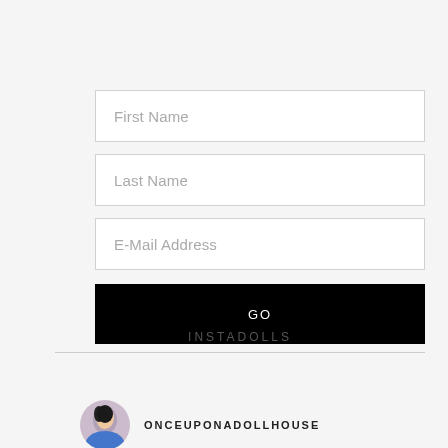First Name
Last Name
E-Mail Address
GO
INSTADOLLS
ONCEUPONADOLLHOUSE